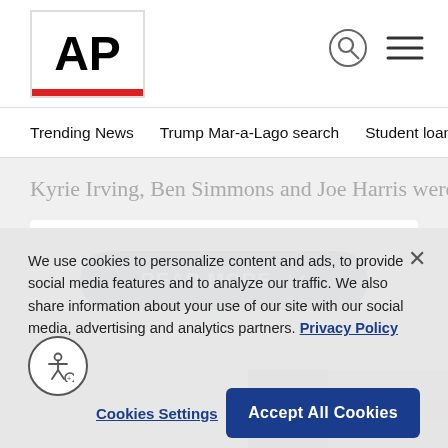AP
Trending News   Trump Mar-a-Lago search   Student loans   U.S.
Kyrie Irving, Ben Simmons and Joe Harris were all out
READ MORE
[Figure (photo): Partially visible news article image in the bottom right]
We use cookies to personalize content and ads, to provide social media features and to analyze our traffic. We also share information about your use of our site with our social media, advertising and analytics partners. Privacy Policy
Cookies Settings
Accept All Cookies